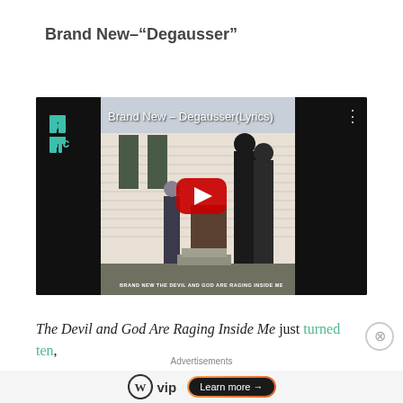Brand New-“Degausser”
[Figure (screenshot): YouTube video embed showing Brand New - Degausser(Lyrics) with the album cover art from 'The Devil and God Are Raging Inside Me'. Features a teal BN MC logo on dark left panel, album photo in center with play button, and three-dot menu on right.]
The Devil and God Are Raging Inside Me just turned ten,
Advertisements
[Figure (infographic): WordPress VIP advertisement with logo and 'Learn more' button on orange gradient background]